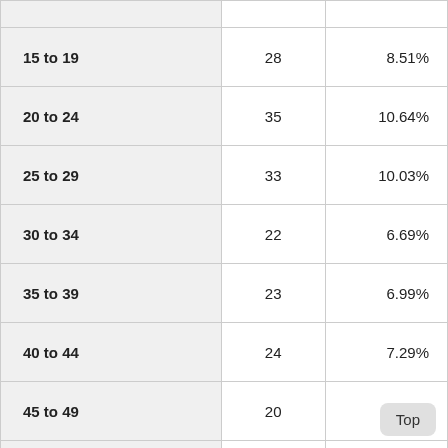| 15 to 19 | 28 | 8.51% |
| 20 to 24 | 35 | 10.64% |
| 25 to 29 | 33 | 10.03% |
| 30 to 34 | 22 | 6.69% |
| 35 to 39 | 23 | 6.99% |
| 40 to 44 | 24 | 7.29% |
| 45 to 49 | 20 | 6.08% |
| 50 to 54 | 12 | 3.65% |
| 55 to 59 | 17 | 5.17% |
| 60 to 64 | 16 | 4.86% |
| 65 to 69 | 8 | 2.43% |